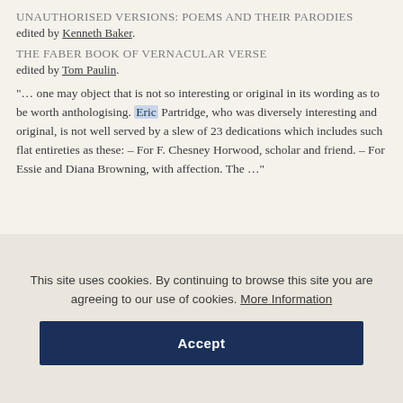Unauthorised Versions: Poems and Their Parodies edited by Kenneth Baker.
The Faber Book of Vernacular Verse edited by Tom Paulin.
“… one may object that is not so interesting or original in its wording as to be worth anthologising. Eric Partridge, who was diversely interesting and original, is not well served by a slew of 23 dedications which includes such flat entireties as these: – For F. Chesney Horwood, scholar and friend. – For Essie and Diana Browning, with affection. The …”
This site uses cookies. By continuing to browse this site you are agreeing to our use of cookies. More Information
Accept